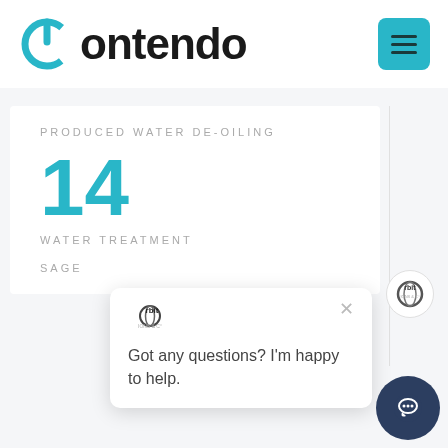[Figure (logo): Contendo logo with teal circular power icon and bold black text]
[Figure (screenshot): Teal hamburger menu button (three horizontal lines)]
PRODUCED WATER DE-OILING
14
WATER TREATMENT
[Figure (logo): Orbit logo small circular badge]
[Figure (screenshot): Chat popup with close X button and text: Got any questions? I'm happy to help.]
SAGE
[Figure (illustration): Dark blue circular chat icon at bottom right]